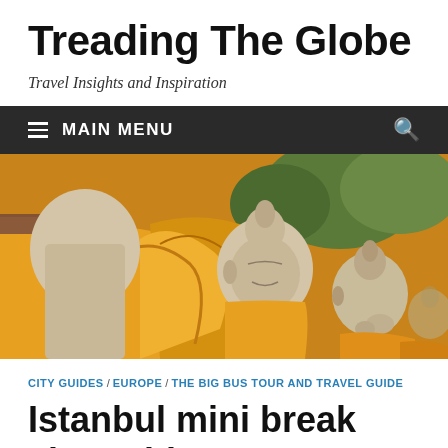Treading The Globe
Travel Insights and Inspiration
MAIN MENU
[Figure (photo): Row of Buddha statues draped in yellow/orange saffron robes, photographed outdoors with green trees in the background]
CITY GUIDES / EUROPE / THE BIG BUS TOUR AND TRAVEL GUIDE
Istanbul mini break city guide